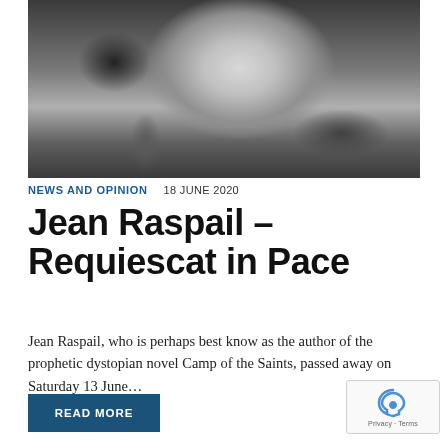[Figure (photo): Black and white photograph of Jean Raspail, an older man with glasses, sitting at a desk in a study, smiling, wearing a light sweater, with bookshelves in the background]
NEWS AND OPINION   18 JUNE 2020
Jean Raspail – Requiescat in Pace
Jean Raspail, who is perhaps best know as the author of the prophetic dystopian novel Camp of the Saints, passed away on Saturday 13 June...
READ MORE